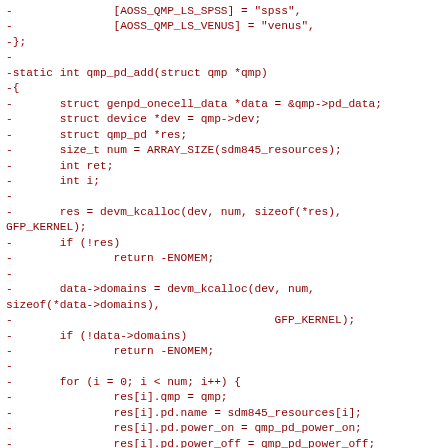Code diff showing removed lines from a C source file (qmp driver), including array initializers, function definition for qmp_pd_add, variable declarations, memory allocation calls, and loop body assignments.